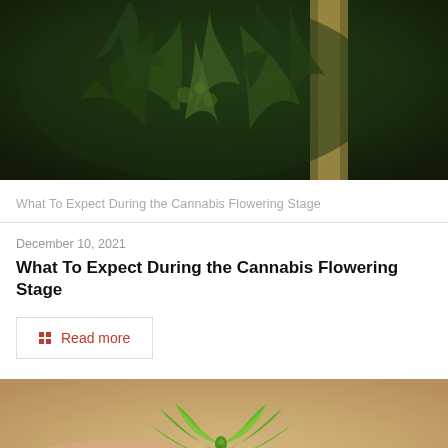[Figure (photo): Close-up photo of cannabis plant in flowering stage with dark green leaves and bamboo stake]
What To Expect During the Cannabis Flowering Stage
December 10, 2021
What To Expect During the Cannabis Flowering Stage
Read more
[Figure (photo): Hands holding a small cannabis seedling with bright green leaves against a light background]